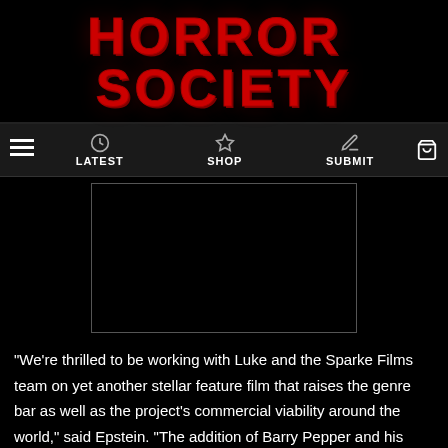HORROR SOCIETY
LATEST  SHOP  SUBMIT
[Figure (screenshot): Black video embed placeholder with thin grey border]
“We’re thrilled to be working with Luke and the Sparke Films team on yet another stellar feature film that raises the genre bar as well as the project’s commercial viability around the world,” said Epstein. “The addition of Barry Pepper and his adept talent